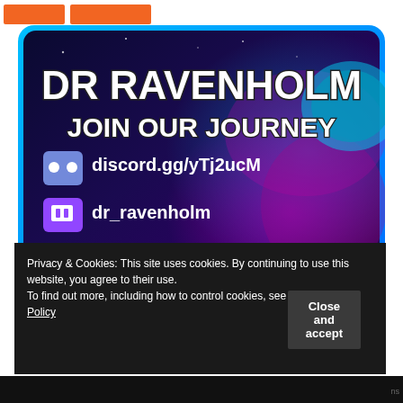[Figure (screenshot): Screenshot of a webpage showing Dr Ravenholm promotional banner with orange buttons at top, a large promotional image for Dr Ravenholm featuring text 'DR RAVENHOLM JOIN OUR JOURNEY' with social media links (discord.gg/yTj2ucM, dr_ravenholm, youtube.com/DrRavenholm, @DRYwillKirkwood), and a cookie consent overlay at the bottom with 'Close and accept' button.]
Privacy & Cookies: This site uses cookies. By continuing to use this website, you agree to their use.
To find out more, including how to control cookies, see here: Cookie Policy
Close and accept